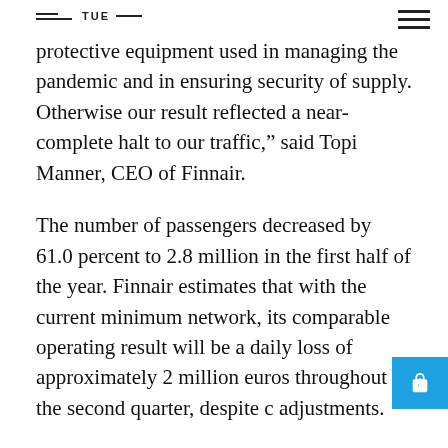TUE
protective equipment used in managing the pandemic and in ensuring security of supply. Otherwise our result reflected a near-complete halt to our traffic," said Topi Manner, CEO of Finnair.
The number of passengers decreased by 61.0 percent to 2.8 million in the first half of the year. Finnair estimates that with the current minimum network, its comparable operating result will be a daily loss of approximately 2 million euros throughout the second quarter, despite c adjustments.
Finnair's current assumption is that it will operate the current minimum network throughout Q2 due to the